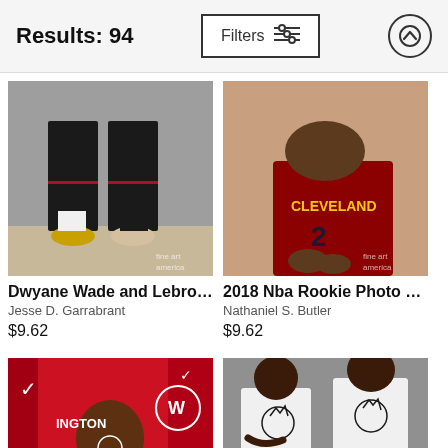Results: 94  Filters
[Figure (photo): Two NBA players wearing black uniforms standing side by side, showing from mid-torso down. Fine Art America watermark visible.]
Dwyane Wade and Lebron Ja...
Jesse D. Garrabrant
$9.62
[Figure (photo): NBA player in Cleveland Cavaliers burgundy jersey sitting, close-up shot. Fine Art America watermark visible.]
2018 Nba Rookie Photo Shoot
Nathaniel S. Butler
$9.62
[Figure (photo): Young basketball player in Washington Wizards red uniform posing in front of jerseys.]
[Figure (photo): Two Milwaukee Bucks players in white uniforms posing together, one holding a basketball.]